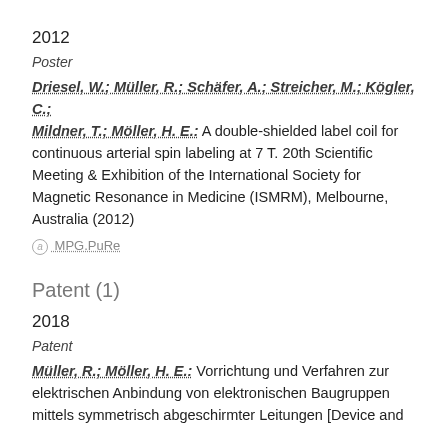2012
Poster
Driesel, W.; Müller, R.; Schäfer, A.; Streicher, M.; Kögler, C.; Mildner, T.; Möller, H. E.: A double-shielded label coil for continuous arterial spin labeling at 7 T. 20th Scientific Meeting & Exhibition of the International Society for Magnetic Resonance in Medicine (ISMRM), Melbourne, Australia (2012)
MPG.PuRe
Patent (1)
2018
Patent
Müller, R.; Möller, H. E.: Vorrichtung und Verfahren zur elektrischen Anbindung von elektronischen Baugruppen mittels symmetrisch abgeschirmter Leitungen [Device and